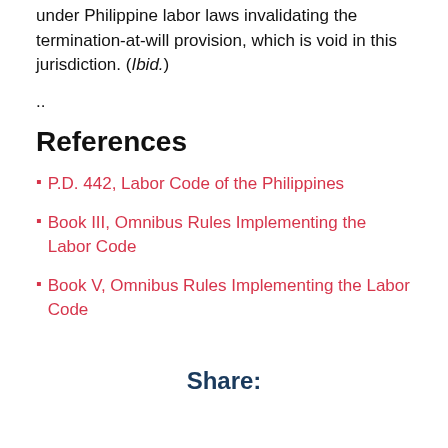under Philippine labor laws invalidating the termination-at-will provision, which is void in this jurisdiction. (Ibid.)
..
References
P.D. 442, Labor Code of the Philippines
Book III, Omnibus Rules Implementing the Labor Code
Book V, Omnibus Rules Implementing the Labor Code
Share: